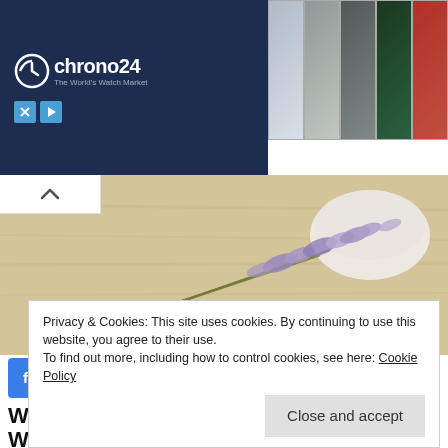[Figure (screenshot): Chrono24 watch advertisement banner with logo on dark blue background and watch product images]
[Figure (photo): Hero image showing lavender flowers and a white bowl on a wooden surface]
[Figure (infographic): Social sharing buttons bar: Facebook, LinkedIn, Pinterest, Tumblr, Twitter, Pocket, Email, with share count of 1]
WHAT DOES "NATURAL" REALLY MEAN WITH COSMETICS & BEAUTY PRODUCTS?
Privacy & Cookies: This site uses cookies. By continuing to use this website, you agree to their use.
To find out more, including how to control cookies, see here: Cookie Policy
Close and accept